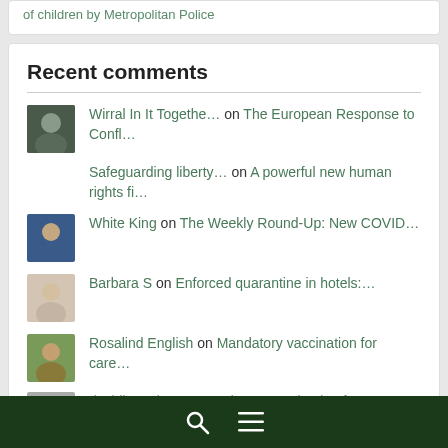of children by Metropolitan Police
Recent comments
Wirral In It Togethe… on The European Response to Confl…
Safeguarding liberty… on A powerful new human rights fi…
White King on The Weekly Round-Up: New COVID…
Barbara S on Enforced quarantine in hotels:…
Rosalind English on Mandatory vaccination for care…
davidlamming on Mandatory vaccination for…
🔍 ☰